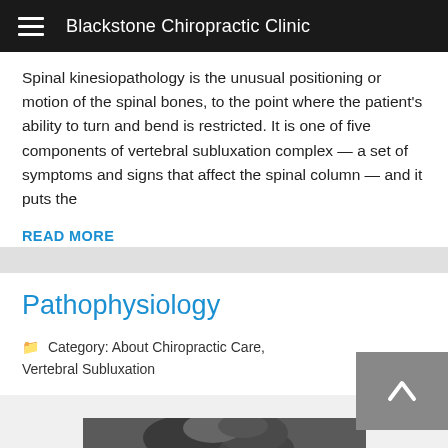Blackstone Chiropractic Clinic
Spinal kinesiopathology is the unusual positioning or motion of the spinal bones, to the point where the patient's ability to turn and bend is restricted. It is one of five components of vertebral subluxation complex — a set of symptoms and signs that affect the spinal column — and it puts the
READ MORE
Pathophysiology
Category: About Chiropractic Care, Vertebral Subluxation
[Figure (photo): Black and white photograph of hands clasped together near a shoulder/joint area]